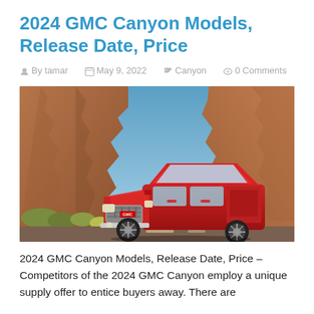2024 GMC Canyon Models, Release Date, Price
By tamar   May 9, 2022   Canyon   0 Comments
[Figure (photo): Red GMC Canyon pickup truck driving on a road through a dramatic red rock canyon landscape with blue sky. The truck is facing forward-left, showing its chrome grille and GMC badge.]
2024 GMC Canyon Models, Release Date, Price – Competitors of the 2024 GMC Canyon employ a unique supply offer to entice buyers away. There are